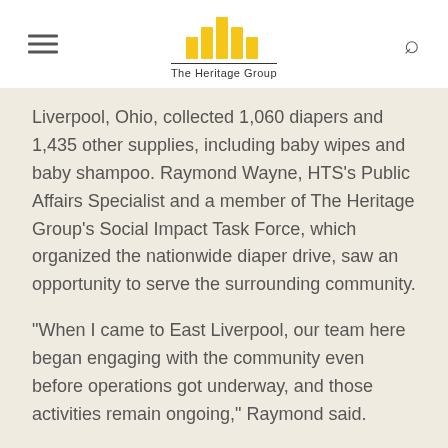The Heritage Group
Liverpool, Ohio, collected 1,060 diapers and 1,435 other supplies, including baby wipes and baby shampoo. Raymond Wayne, HTS’s Public Affairs Specialist and a member of The Heritage Group’s Social Impact Task Force, which organized the nationwide diaper drive, saw an opportunity to serve the surrounding community.
“When I came to East Liverpool, our team here began engaging with the community even before operations got underway, and those activities remain ongoing,” Raymond said.